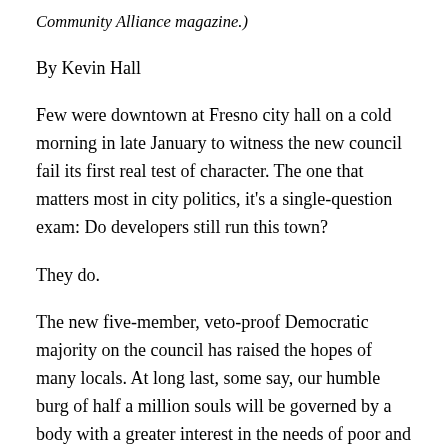Community Alliance magazine.)
By Kevin Hall
Few were downtown at Fresno city hall on a cold morning in late January to witness the new council fail its first real test of character. The one that matters most in city politics, it's a single-question exam: Do developers still run this town?
They do.
The new five-member, veto-proof Democratic majority on the council has raised the hopes of many locals. At long last, some say, our humble burg of half a million souls will be governed by a body with a greater interest in the needs of poor and working families, one willing to take on the special interests running roughshod over lives and futures.